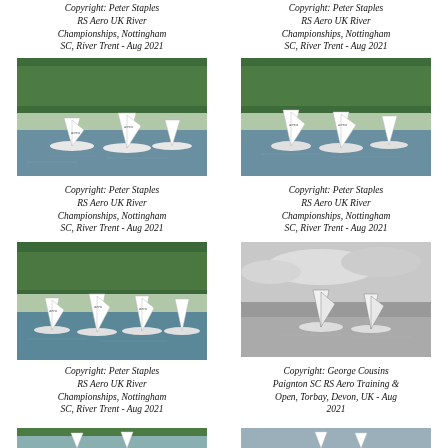Copyright: Peter Staples
RS Aero UK River Championships, Nottingham SC, River Trent - Aug 2021
Copyright: Peter Staples
RS Aero UK River Championships, Nottingham SC, River Trent - Aug 2021
[Figure (photo): Sailing boats (RS Aero dinghies) racing on a river with trees in background, color photo]
[Figure (photo): Sailing boats (RS Aero dinghies) racing on a river with trees in background, color photo]
Copyright: Peter Staples
RS Aero UK River Championships, Nottingham SC, River Trent - Aug 2021
Copyright: Peter Staples
RS Aero UK River Championships, Nottingham SC, River Trent - Aug 2021
[Figure (photo): Sailing boats (RS Aero dinghies) racing on a river, color photo, lush green trees]
[Figure (photo): Sailing boats (RS Aero dinghies) on open water, black and white photo, cloudy sky]
Copyright: Peter Staples
RS Aero UK River Championships, Nottingham SC, River Trent - Aug 2021
Copyright: George Cousins
Paignton SC RS Aero Training & Open, Torbay, Devon, UK - Aug 2021
[Figure (photo): Sailing boats partially visible at bottom of page, color photo]
[Figure (photo): Sailing boats partially visible at bottom of page, color photo]